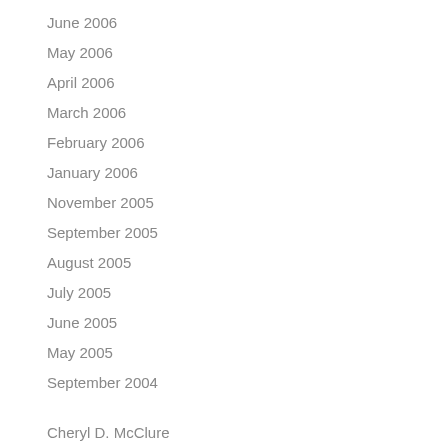June 2006
May 2006
April 2006
March 2006
February 2006
January 2006
November 2005
September 2005
August 2005
July 2005
June 2005
May 2005
September 2004
Cheryl D. McClure